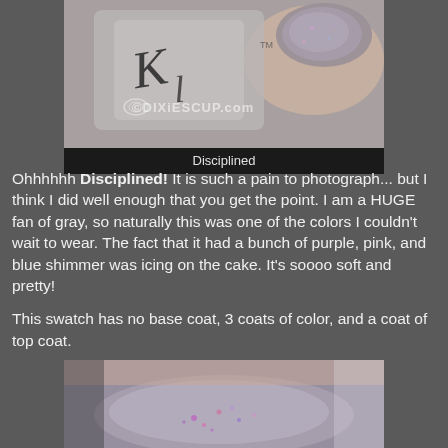[Figure (photo): Close-up photo of gray nail polish bottle and painted nails with shimmer, watermarked with DIXIESCUP.com]
Disciplined
Ohhhhhh Disciplined! It is such a pain to photograph... but I think I did well enough that you get the point. I am a HUGE fan of gray, so naturally this was one of the colors I couldn't wait to wear. The fact that it had a bunch of purple, pink, and blue shimmer was icing on the cake. It's soooo soft and pretty!
This swatch has no base coat, 3 coats of color, and a coat of top coat.
[Figure (photo): Close-up macro photo of nail painted with gray shimmer polish showing purple and pink shimmer flecks]